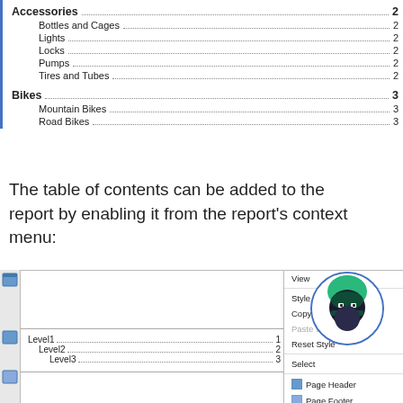Accessories  2
Bottles and Cages  2
Lights  2
Locks  2
Pumps  2
Tires and Tubes  2
Bikes  3
Mountain Bikes  3
Road Bikes  3
The table of contents can be added to the report by enabling it from the report's context menu:
[Figure (screenshot): Screenshot of a report designer showing a table of contents with Level1, Level2, Level3 entries, and a context menu open with options including View, Style, Copy Style, Paste Style, Reset Style, Select, Page Header, Page Footer, Table of Contents (highlighted), Report Header, Report Footer. A ninja mascot icon appears in the top right.]